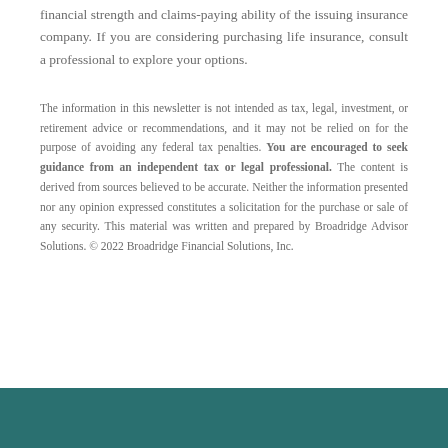financial strength and claims-paying ability of the issuing insurance company. If you are considering purchasing life insurance, consult a professional to explore your options.
The information in this newsletter is not intended as tax, legal, investment, or retirement advice or recommendations, and it may not be relied on for the purpose of avoiding any federal tax penalties. You are encouraged to seek guidance from an independent tax or legal professional. The content is derived from sources believed to be accurate. Neither the information presented nor any opinion expressed constitutes a solicitation for the purchase or sale of any security. This material was written and prepared by Broadridge Advisor Solutions. © 2022 Broadridge Financial Solutions, Inc.